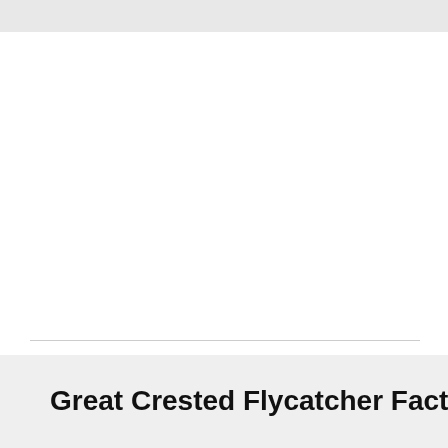Great Crested Flycatcher Facts
Prey
Insects
[Figure (other): Advertisement banner: Members save big, World Market, with a play button icon and navigation arrow icon]